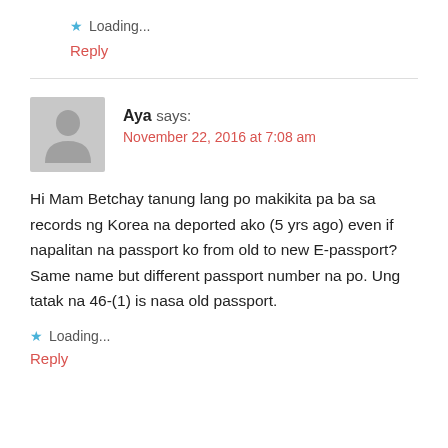★ Loading...
Reply
Aya says:
November 22, 2016 at 7:08 am
Hi Mam Betchay tanung lang po makikita pa ba sa records ng Korea na deported ako (5 yrs ago) even if napalitan na passport ko from old to new E-passport? Same name but different passport number na po. Ung tatak na 46-(1) is nasa old passport.
★ Loading...
Reply